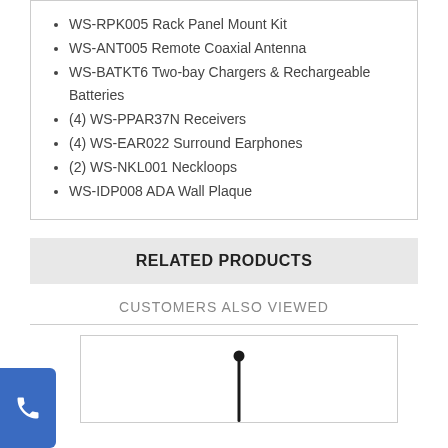WS-RPK005 Rack Panel Mount Kit
WS-ANT005 Remote Coaxial Antenna
WS-BATKT6 Two-bay Chargers & Rechargeable Batteries
(4) WS-PPAR37N Receivers
(4) WS-EAR022 Surround Earphones
(2) WS-NKL001 Neckloops
WS-IDP008 ADA Wall Plaque
RELATED PRODUCTS
CUSTOMERS ALSO VIEWED
[Figure (photo): Product image placeholder with an antenna visible — top of a thin black antenna rod with a round ball tip shown inside a bordered product card box.]